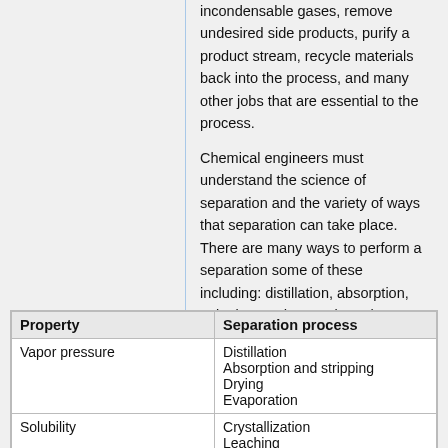incondensable gases, remove undesired side products, purify a product stream, recycle materials back into the process, and many other jobs that are essential to the process.
Chemical engineers must understand the science of separation and the variety of ways that separation can take place. There are many ways to perform a separation some of these including: distillation, absorption, stripping, and extraction. The science of separation revolves around the presence of two phases that are in contact and equilibrium (Wankat, 2012).
| Property | Separation process |
| --- | --- |
| Vapor pressure | Distillation
Absorption and stripping
Drying
Evaporation |
| Solubility | Crystallization
Leaching |
| Distribution coefficient | Solvent extraction |